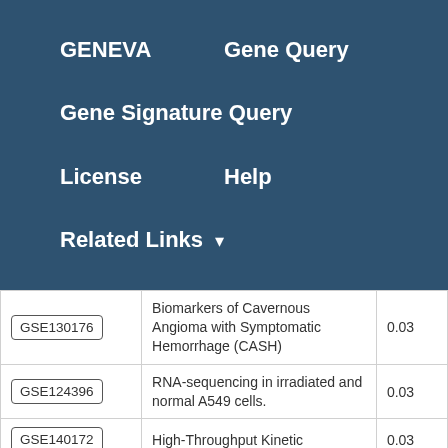GENEVA   Gene Query
Gene Signature Query
License   Help
Related Links ▼
| GSE ID | Description | Value |
| --- | --- | --- |
| GSE130176 | Biomarkers of Cavernous Angioma with Symptomatic Hemorrhage (CASH) | 0.03 |
| GSE124396 | RNA-sequencing in irradiated and normal A549 cells. | 0.03 |
| GSE140172 | High-Throughput Kinetic… | 0.03 |